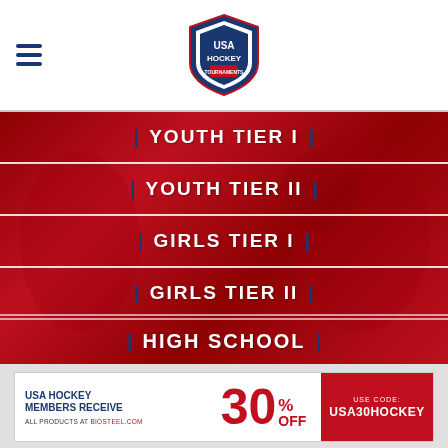USA Hockey Tournaments
| YOUTH TIER I |
| YOUTH TIER II |
| GIRLS TIER I |
| GIRLS TIER II |
| HIGH SCHOOL |
[Figure (infographic): BioSteel advertisement: USA Hockey Members Receive 30% OFF all products at biosteel.com. Use code: USA30HOCKEY]